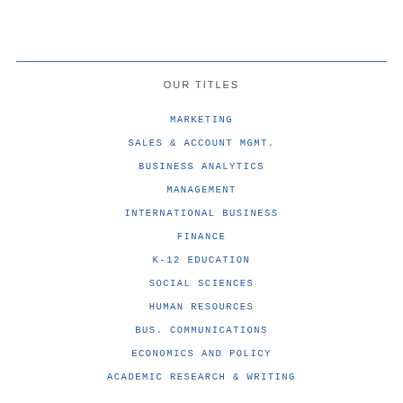OUR TITLES
MARKETING
SALES & ACCOUNT MGMT.
BUSINESS ANALYTICS
MANAGEMENT
INTERNATIONAL BUSINESS
FINANCE
K-12 EDUCATION
SOCIAL SCIENCES
HUMAN RESOURCES
BUS. COMMUNICATIONS
ECONOMICS AND POLICY
ACADEMIC RESEARCH & WRITING